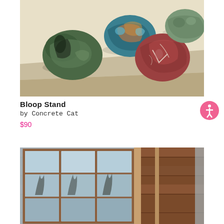[Figure (photo): Overhead photo of four colorful marbled stone or ceramic egg-shaped objects on a light beige wooden surface. Colors include green-blue-black, teal-orange-blue, red-white, and muted green.]
Bloop Stand
by Concrete Cat
$90
[Figure (photo): Interior photo of a rustic wooden cabin or house showing large multi-pane wooden windows with bare winter trees visible outside, warm wooden plank walls and stairs, natural light streaming in.]